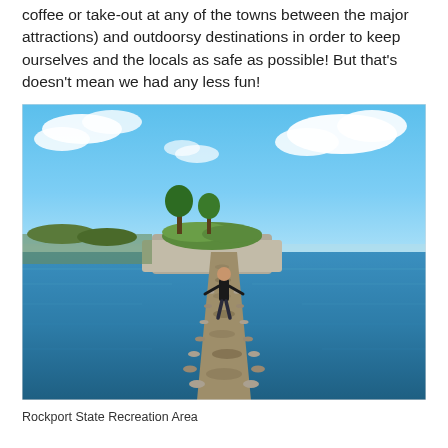coffee or take-out at any of the towns between the major attractions) and outdoorsy destinations in order to keep ourselves and the locals as safe as possible! But that's doesn't mean we had any less fun!
[Figure (photo): A person in a black shirt and jeans walking along a narrow rocky causeway/jetty extending out into a large blue lake or bay. At the end of the causeway is a small grassy island or peninsula with a few trees. The sky is bright blue with scattered white clouds.]
Rockport State Recreation Area